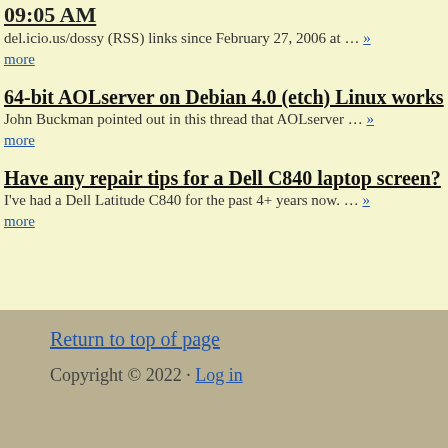09:05 AM
del.icio.us/dossy (RSS) links since February 27, 2006 at … » more
64-bit AOLserver on Debian 4.0 (etch) Linux works
John Buckman pointed out in this thread that AOLserver … » more
Have any repair tips for a Dell C840 laptop screen?
I've had a Dell Latitude C840 for the past 4+ years now. … » more
Return to top of page
Copyright © 2022 · Log in